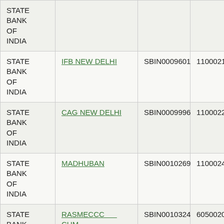| STATE BANK OF INDIA |  |  |  |
| STATE BANK OF INDIA | IFB NEW DELHI | SBIN0009601 | 110002188 |
| STATE BANK OF INDIA | CAG NEW DELHI | SBIN0009996 | 110002201 |
| STATE BANK OF INDIA | MADHUBAN | SBIN0010269 | 110002425 |
| STATE BANK OF INDIA | RASMECCC CUM SARC | SBIN0010324 | 605002090 |